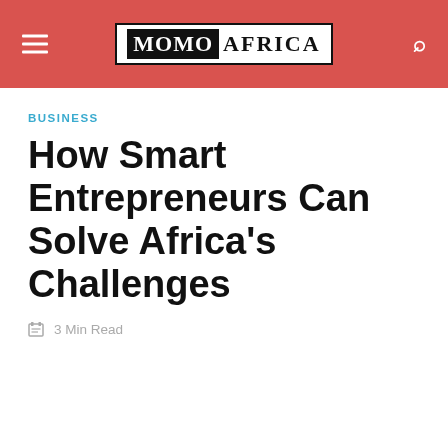MOMO AFRICA
BUSINESS
How Smart Entrepreneurs Can Solve Africa's Challenges
3 Min Read